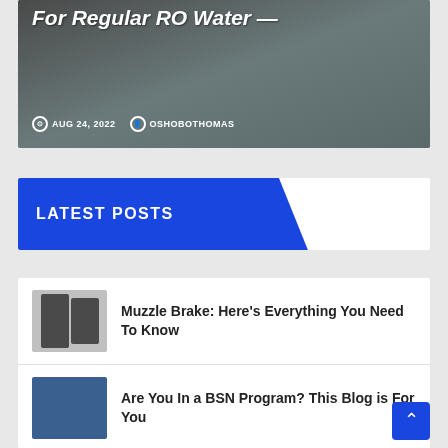[Figure (screenshot): Hero image with dark background showing text 'For Regular RO Water' in bold italic white, with date AUG 24, 2022 and author OSHOBOTHOMAS]
LATEST POSTS
Muzzle Brake: Here's Everything You Need To Know
Are You In a BSN Program? This Blog is For You
3 Ideas for Creative Fundraising